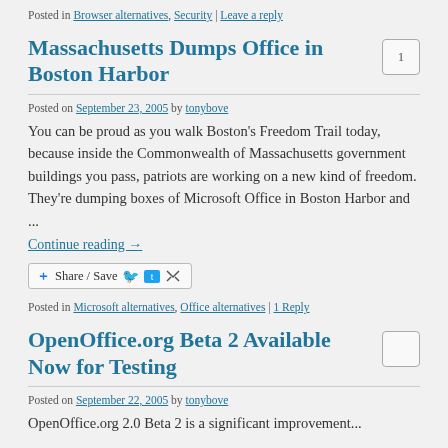Posted in Browser alternatives, Security | Leave a reply
Massachusetts Dumps Office in Boston Harbor
Posted on September 23, 2005 by tonybove
You can be proud as you walk Boston’s Freedom Trail today, because inside the Commonwealth of Massachusetts government buildings you pass, patriots are working on a new kind of freedom. They’re dumping boxes of Microsoft Office in Boston Harbor and ...
Continue reading →
Share / Save
Posted in Microsoft alternatives, Office alternatives | 1 Reply
OpenOffice.org Beta 2 Available Now for Testing
Posted on September 22, 2005 by tonybove
OpenOffice.org 2.0 Beta 2 is a significant improvement...